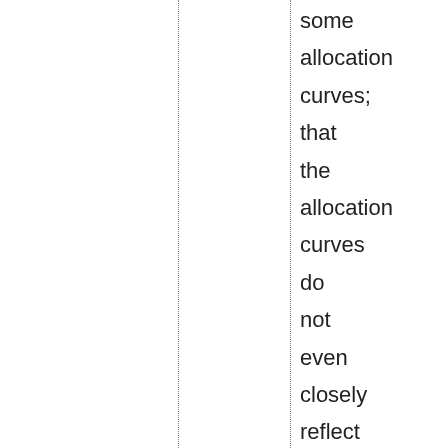some allocation curves; that the allocation curves do not even closely reflect the true Internet growth; and that a scarce address space is an unstable